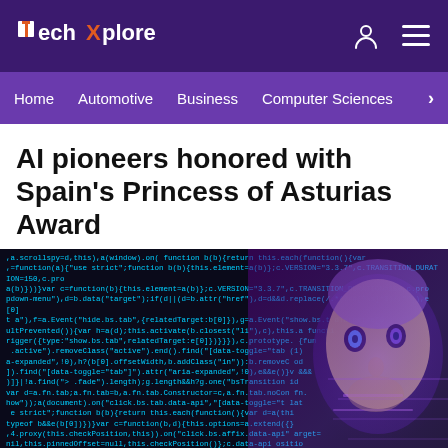TechXplore
Home  Automotive  Business  Computer Sciences  >
AI pioneers honored with Spain's Princess of Asturias Award
[Figure (photo): Background image showing code/programming text on dark screen with a futuristic AI robot face (female, glowing circuit patterns) overlaid on the right side, in purple tones.]